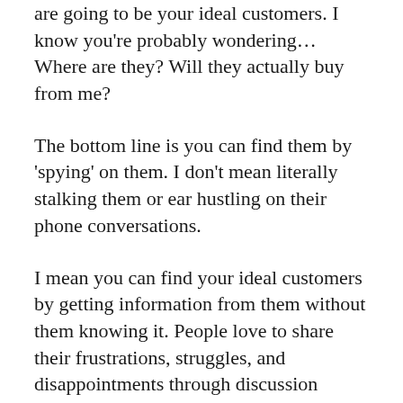are going to be your ideal customers. I know you're probably wondering… Where are they? Will they actually buy from me?
The bottom line is you can find them by 'spying' on them. I don't mean literally stalking them or ear hustling on their phone conversations.
I mean you can find your ideal customers by getting information from them without them knowing it. People love to share their frustrations, struggles, and disappointments through discussion forums, online groups, social media, Amazon comments, and question sites.
They are telling you what to serve them with. PERIOD. It's really simple.  For example, if you have a niche